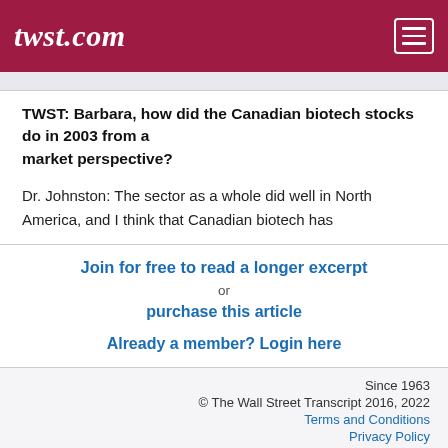twst.com
TWST: Barbara, how did the Canadian biotech stocks do in 2003 from a market perspective?
Dr. Johnston: The sector as a whole did well in North America, and I think that Canadian biotech has
Join for free to read a longer excerpt
or
purchase this article

Already a member? Login here
Since 1963
© The Wall Street Transcript 2016, 2022
Terms and Conditions
Privacy Policy